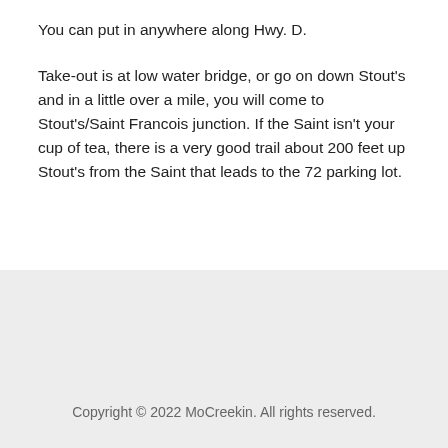You can put in anywhere along Hwy. D.
Take-out is at low water bridge, or go on down Stout's and in a little over a mile, you will come to Stout's/Saint Francois junction. If the Saint isn't your cup of tea, there is a very good trail about 200 feet up Stout's from the Saint that leads to the 72 parking lot.
Copyright © 2022 MoCreekin. All rights reserved.